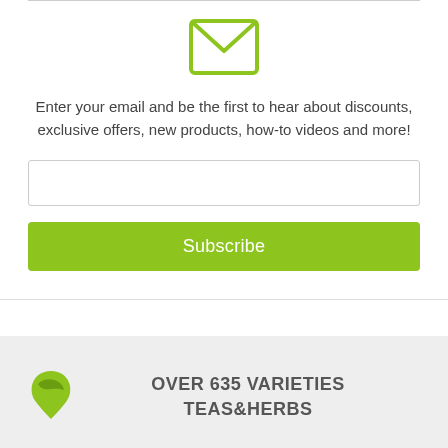[Figure (illustration): Green envelope icon representing email/newsletter signup]
Enter your email and be the first to hear about discounts, exclusive offers, new products, how-to videos and more!
[Figure (other): Email input text field box]
[Figure (other): Green Subscribe button]
OVER 635 VARIETIES TEAS&HERBS
36 LOCAL TEA GARDENS ACROSS CHINA